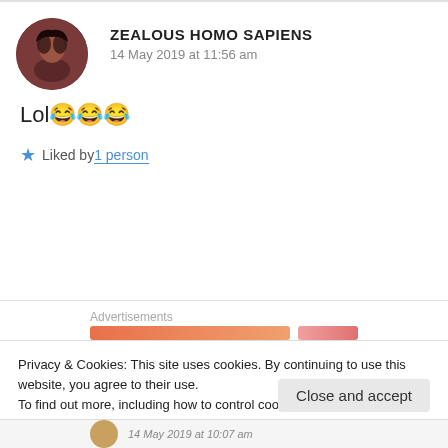ZEALOUS HOMO SAPIENS
14 May 2019 at 11:56 am
Lol😂😂😂
★ Liked by 1 person
Advertisements
Privacy & Cookies: This site uses cookies. By continuing to use this website, you agree to their use.
To find out more, including how to control cookies, see here: Cookie Policy
Close and accept
14 May 2019 at 10:07 am